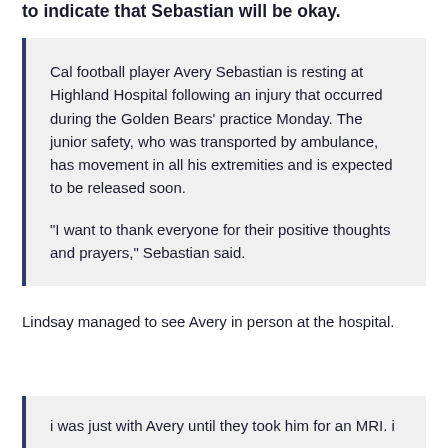to indicate that Sebastian will be okay.
Cal football player Avery Sebastian is resting at Highland Hospital following an injury that occurred during the Golden Bears' practice Monday. The junior safety, who was transported by ambulance, has movement in all his extremities and is expected to be released soon.

"I want to thank everyone for their positive thoughts and prayers," Sebastian said.
Lindsay managed to see Avery in person at the hospital.
i was just with Avery until they took him for an MRI. i